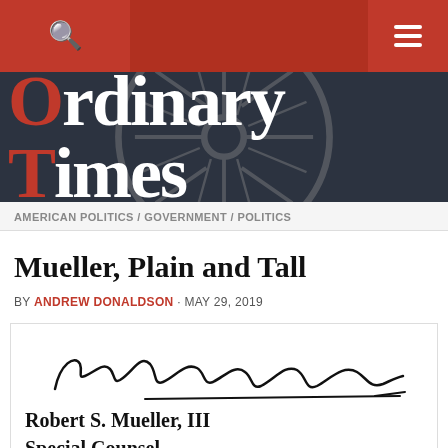Ordinary Times — navigation bar with search and menu
Ordinary Times
AMERICAN POLITICS / GOVERNMENT / POLITICS
Mueller, Plain and Tall
BY ANDREW DONALDSON · MAY 29, 2019
[Figure (photo): Signature of Robert S. Mueller III with printed name 'Robert S. Mueller, III Special Counsel U.S. Department of Justice']